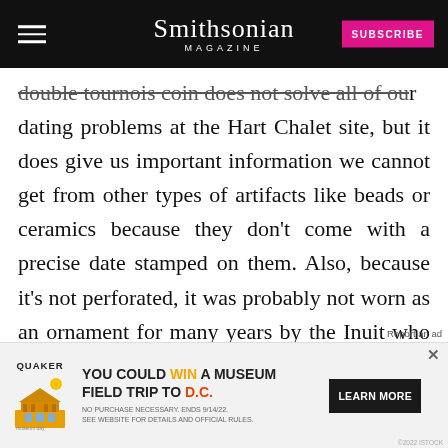Smithsonian MAGAZINE | SUBSCRIBE
double tournois coin does not solve all of our dating problems at the Hart Chalet site, but it does give us important information we cannot get from other types of artifacts like beads or ceramics because they don't come with a precise date stamped on them. Also, because it's not perforated, it was probably not worn as an ornament for many years by the Inuit who obtained it. Chances are that it got into the site within a decade or two after the 1630s, because it was—not something a European would have treasured.
[Figure (other): Quaker Museum Day advertisement banner: YOU COULD WIN A MUSEUM FIELD TRIP TO D.C. with LEARN MORE button]